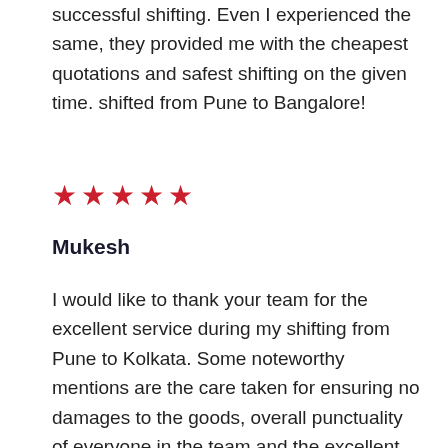successful shifting. Even I experienced the same, they provided me with the cheapest quotations and safest shifting on the given time. shifted from Pune to Bangalore!
[Figure (other): Five red star rating symbols in a row]
Mukesh
I would like to thank your team for the excellent service during my shifting from Pune to Kolkata. Some noteworthy mentions are the care taken for ensuring no damages to the goods, overall punctuality of everyone in the team and the excellent behavior from